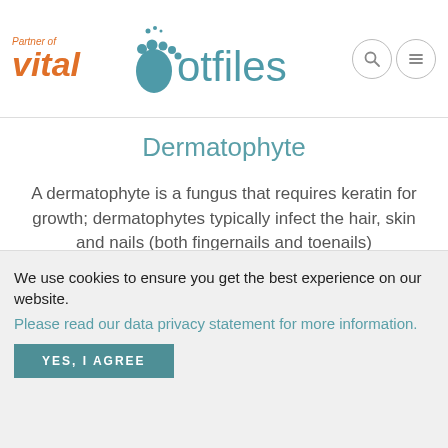Partner of vital | Footfiles
Dermatophyte
A dermatophyte is a fungus that requires keratin for growth; dermatophytes typically infect the hair, skin and nails (both fingernails and toenails)
[Figure (illustration): Teal/grey semicircle representing a foot at the bottom of a content area]
We use cookies to ensure you get the best experience on our website.
Please read our data privacy statement for more information.
YES, I AGREE